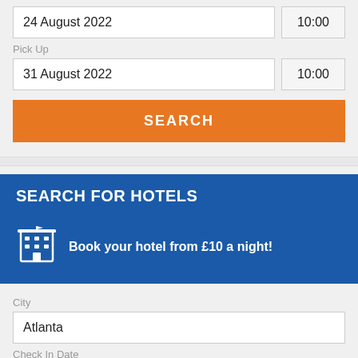24 August 2022
10:00
Pick Up
31 August 2022
10:00
SEARCH
SEARCH FOR HOTELS
Book your hotel from £10 a night!
City
Atlanta
Check In Date
24 August 2022